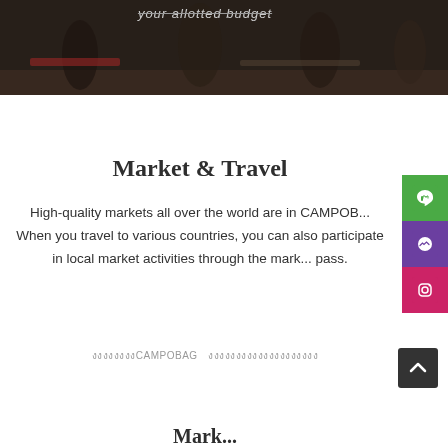[Figure (photo): Dark-toned banner photo of people at a market, partially visible at top of page with text overlay reading 'your allotted budget']
Market & Travel
High-quality markets all over the world are in CAMPOB... When you travel to various countries, you can also participate in local market activities through the mark... pass.
งงงงงงงงCAMPOBAG งงงงงงงงงงงงงงงงงงงง
Mark...